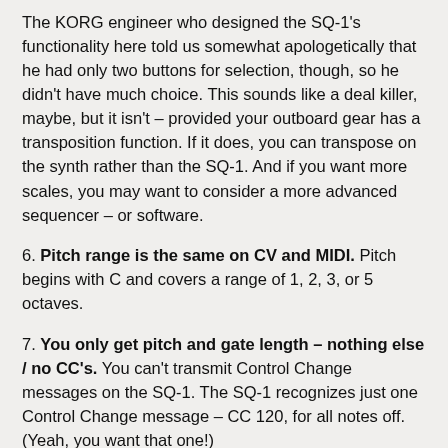The KORG engineer who designed the SQ-1's functionality here told us somewhat apologetically that he had only two buttons for selection, though, so he didn't have much choice. This sounds like a deal killer, maybe, but it isn't – provided your outboard gear has a transposition function. If it does, you can transpose on the synth rather than the SQ-1. And if you want more scales, you may want to consider a more advanced sequencer – or software.
6. Pitch range is the same on CV and MIDI. Pitch begins with C and covers a range of 1, 2, 3, or 5 octaves.
7. You only get pitch and gate length – nothing else / no CC's. You can't transmit Control Change messages on the SQ-1. The SQ-1 recognizes just one Control Change message – CC 120, for all notes off. (Yeah, you want that one!)
8. You can't define the MIDI channel from a button...